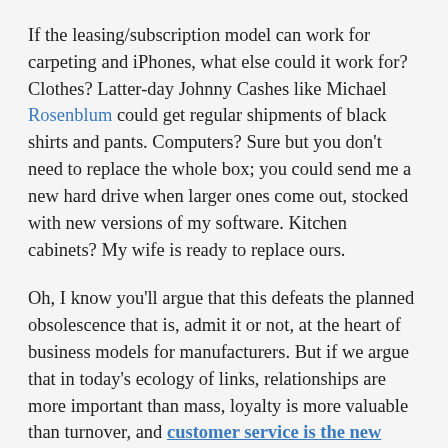If the leasing/subscription model can work for carpeting and iPhones, what else could it work for? Clothes? Latter-day Johnny Cashes like Michael Rosenblum could get regular shipments of black shirts and pants. Computers? Sure but you don't need to replace the whole box; you could send me a new hard drive when larger ones come out, stocked with new versions of my software. Kitchen cabinets? My wife is ready to replace ours.
Oh, I know you'll argue that this defeats the planned obsolescence that is, admit it or not, at the heart of business models for manufacturers. But if we argue that in today's ecology of links, relationships are more important than mass, loyalty is more valuable than turnover, and customer service is the new marketing, then there are new economics at work. Magazines try desperately to get you to auto-renew subscriptions through credit cards. Microsoft has been dying to switch to subscriptions for